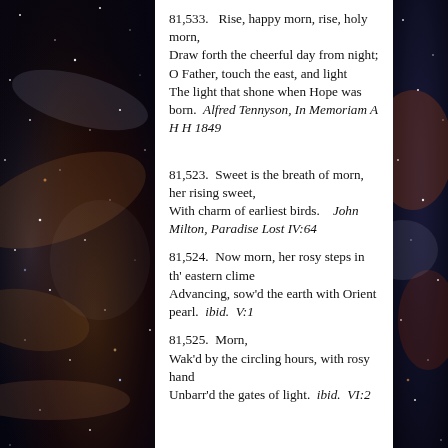[Figure (photo): Nebula/starfield space photograph forming left and right column background]
81,533.   Rise, happy morn, rise, holy morn,
Draw forth the cheerful day from night;
O Father, touch the east, and light
The light that shone when Hope was born.  Alfred Tennyson, In Memoriam A H H 1849
81,523.  Sweet is the breath of morn, her rising sweet,
With charm of earliest birds.  John Milton, Paradise Lost IV:64
81,524.  Now morn, her rosy steps in th' eastern clime
Advancing, sow'd the earth with Orient pearl.  ibid.  V:1
81,525.  Morn,
Wak'd by the circling hours, with rosy hand
Unbarr'd the gates of light.  ibid.  VI:2